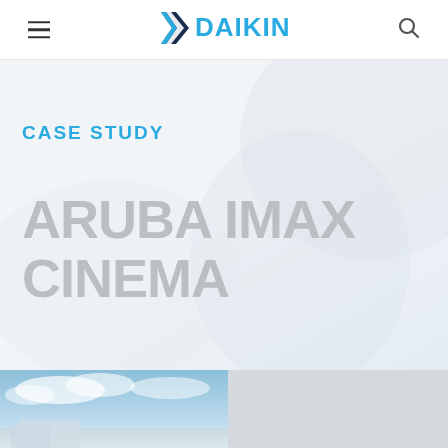[Figure (logo): Daikin logo with blue checkmark/arrow shape and blue DAIKIN text]
CASE STUDY
ARUBA IMAX CINEMA
[Figure (photo): Partial view of a building under blue sky with clouds — Aruba IMAX Cinema exterior]